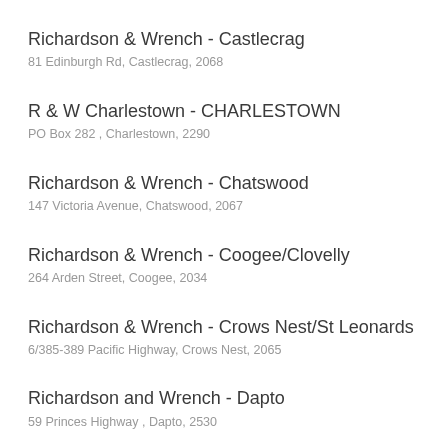Richardson & Wrench - Castlecrag
81 Edinburgh Rd, Castlecrag, 2068
R & W Charlestown - CHARLESTOWN
PO Box 282 , Charlestown, 2290
Richardson & Wrench - Chatswood
147 Victoria Avenue, Chatswood, 2067
Richardson & Wrench - Coogee/Clovelly
264 Arden Street, Coogee, 2034
Richardson & Wrench - Crows Nest/St Leonards
6/385-389 Pacific Highway, Crows Nest, 2065
Richardson and Wrench - Dapto
59 Princes Highway , Dapto, 2530